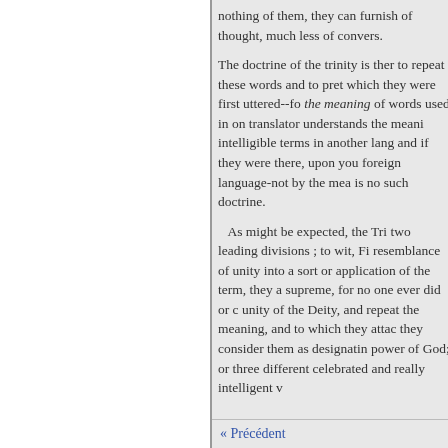nothing of them, they can furnish of thought, much less of convers.
The doctrine of the trinity is ther to repeat these words and to pret which they were first uttered--fo the meaning of words used in on translator understands the meani intelligible terms in another lang and if they were there, upon you foreign language-not by the mea is no such doctrine.
As might be expected, the Tri two leading divisions ; to wit, Fi resemblance of unity into a sort or application of the term, they a supreme, for no one ever did or c unity of the Deity, and repeat the meaning, and to which they attac they consider them as designatin power of God; or three different celebrated and really intelligent v
« Précédent